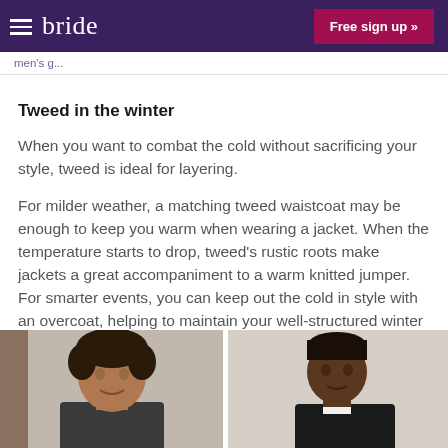bride  Free sign up »
Tweed in the winter
When you want to combat the cold without sacrificing your style, tweed is ideal for layering.
For milder weather, a matching tweed waistcoat may be enough to keep you warm when wearing a jacket. When the temperature starts to drop, tweed's rustic roots make jackets a great accompaniment to a warm knitted jumper. For smarter events, you can keep out the cold in style with an overcoat, helping to maintain your well-structured winter look.
[Figure (photo): Two men wearing tweed clothing, photographed from shoulders up against a light background]